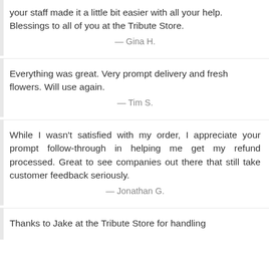your staff made it a little bit easier with all your help. Blessings to all of you at the Tribute Store.
— Gina H.
Everything was great. Very prompt delivery and fresh flowers. Will use again.
— Tim S.
While I wasn't satisfied with my order, I appreciate your prompt follow-through in helping me get my refund processed. Great to see companies out there that still take customer feedback seriously.
— Jonathan G.
Thanks to Jake at the Tribute Store for handling